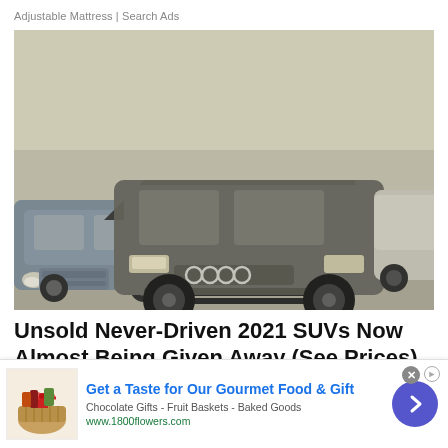Adjustable Mattress | Search Ads
[Figure (photo): Several dusty/dirty SUVs parked inside a warehouse or storage facility. Prominently featured is a dark grey Audi Q7 in the center-foreground, with a blue BMW X5 and other vehicles visible behind it, all covered in dust.]
Unsold Never-Driven 2021 SUVs Now Almost Being Given Away (See Prices)
[Figure (infographic): Advertisement banner for 1800flowers.com: 'Get a Taste for Our Gourmet Food & Gift' with subtext 'Chocolate Gifts - Fruit Baskets - Baked Goods' and URL 'www.1800flowers.com'. Shows a gift basket image on the left and a blue circular arrow button on the right. Has a close (X) button.]